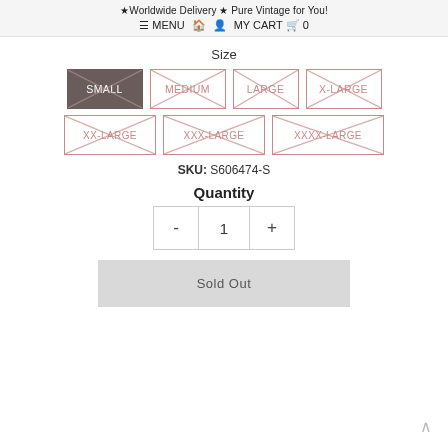★Worldwide Delivery ★ Pure Vintage for You!
≡ MENU 🏠 👤 MY CART 🛒 0
Size
SMALL | MEDIUM | LARGE | X-LARGE | XX-LARGE | XXX-LARGE | XXXX-LARGE
SKU: S606474-S
Quantity
- 1 +
Sold Out